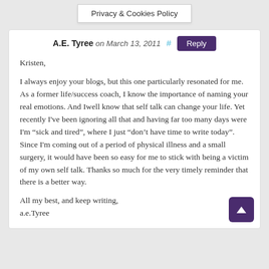Privacy & Cookies Policy
A.E. Tyree on March 13, 2011  #  Reply
Kristen,

I always enjoy your blogs, but this one particularly resonated for me. As a former life/success coach, I know the importance of naming your real emotions. And Iwell know that self talk can change your life. Yet recently I've been ignoring all that and having far too many days were I'm “sick and tired”, where I just “don’t have time to write today”. Since I'm coming out of a period of physical illness and a small surgery, it would have been so easy for me to stick with being a victim of my own self talk. Thanks so much for the very timely reminder that there is a better way.

All my best, and keep writing,
a.e.Tyree